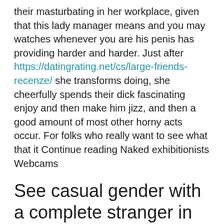their masturbating in her workplace, given that this lady manager means and you may watches whenever you are his penis has providing harder and harder. Just after https://datingrating.net/cs/large-friends-recenze/ she transforms doing, she cheerfully spends their dick fascinating enjoy and then make him jizz, and then a good amount of most other horny acts occur. For folks who really want to see what that it Continue reading Naked exhibitionists Webcams
See casual gender with a complete stranger in the Strangers4Sex